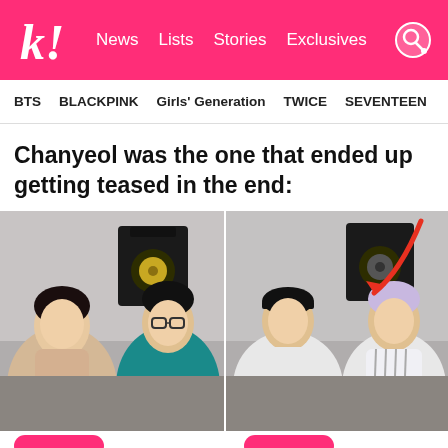K! News  Lists  Stories  Exclusives
BTS  BLACKPINK  Girls' Generation  TWICE  SEVENTEEN
Chanyeol was the one that ended up getting teased in the end:
[Figure (photo): Two side-by-side screenshots from a video. Left panel shows two young men sitting in a studio with a black speaker monitor behind them; the left man wears a beige polo shirt, the right wears glasses, a black beanie, and a teal hoodie. Right panel shows two young men in the same studio; the left wears a white jacket and black cap, the right has lavender/purple hair and wears a striped shirt. A red arrow annotation points to something near the speaker on the right panel.]